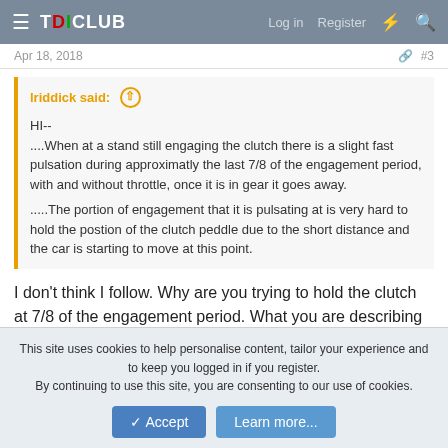TDICLUB — Log in | Register
Apr 18, 2018   #3
lriddick said:
HI--
....When at a stand still engaging the clutch there is a slight fast pulsation during approximatly the last 7/8 of the engagement period, with and without throttle, once it is in gear it goes away.

.....The portion of engagement that it is pulsating at is very hard to hold the postion of the clutch peddle due to the short distance and the car is starting to move at this point.
I don't think I follow. Why are you trying to hold the clutch at 7/8 of the engagement period. What you are describing sounds like riding the clutch to me. But I'm probably missing something in
This site uses cookies to help personalise content, tailor your experience and to keep you logged in if you register.
By continuing to use this site, you are consenting to our use of cookies.